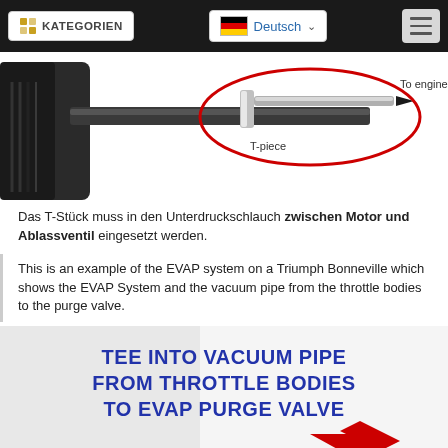KATEGORIEN | Deutsch | menu
[Figure (engineering-diagram): Diagram showing a T-piece connector in a vacuum hose, with a red circle highlighting the T-piece area and an arrow labeled 'To engine'. Labels: 'T-piece' and 'To engine'.]
Das T-Stück muss in den Unterdruckschlauch zwischen Motor und Ablassventil eingesetzt werden.
This is an example of the EVAP system on a Triumph Bonneville which shows the EVAP System and the vacuum pipe from the throttle bodies to the purge valve.
[Figure (other): Instructional image with bold blue text: 'TEE INTO VACUUM PIPE FROM THROTTLE BODIES TO EVAP PURGE VALVE' and a red arrow pointing downward.]